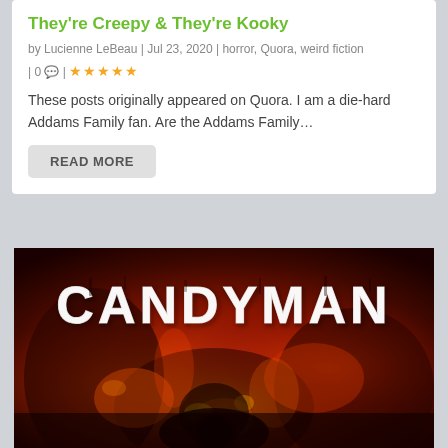They're Creepy & They're Kooky
by Lucienne LeBeau | Jul 23, 2020 | horror, Quora, weird fiction | 0 | ★★★★★
These posts originally appeared on Quora. I am a die-hard Addams Family fan. Are the Addams Family…
READ MORE
[Figure (illustration): Dark horror movie poster image for CANDYMAN with white stylized text over a fiery red and black background showing a menacing figure]